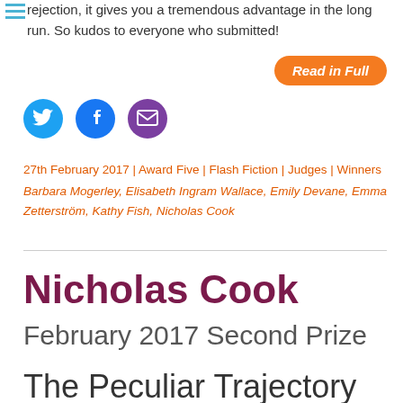rejection, it gives you a tremendous advantage in the long run. So kudos to everyone who submitted!
Read in Full
[Figure (infographic): Social share icons: Twitter (blue circle), Facebook (blue circle), Email (purple circle)]
27th February 2017 | Award Five | Flash Fiction | Judges | Winners
Barbara Mogerley, Elisabeth Ingram Wallace, Emily Devane, Emma Zetterström, Kathy Fish, Nicholas Cook
Nicholas Cook
February 2017 Second Prize
The Peculiar Trajectory of